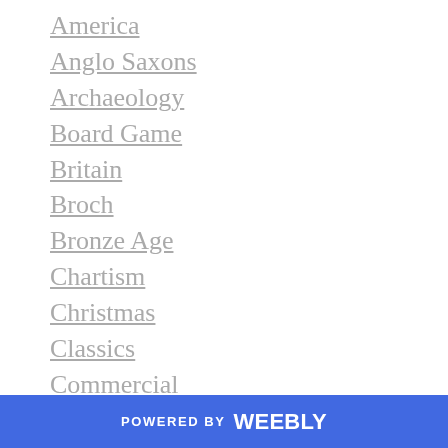America
Anglo Saxons
Archaeology
Board Game
Britain
Broch
Bronze Age
Chartism
Christmas
Classics
Commercial
Competition
England
Europe
Field Trip
History
Instructions
POWERED BY weebly